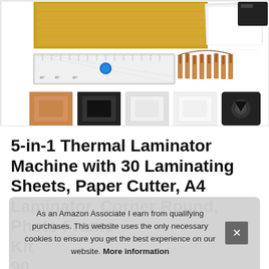[Figure (photo): Product image collage showing a thermal laminator machine with accessories: photo prints, a paper cutter/ruler, wooden clothespins, and photo frame thumbnails in multiple colors (kraft, black, white, and a corner rounder device).]
5-in-1 Thermal Laminator Machine with 30 Laminating Sheets, Paper Cutter, A4 Laminator, Corner Round, Photo Frame Kit 90 La
As an Amazon Associate I earn from qualifying purchases. This website uses the only necessary cookies to ensure you get the best experience on our website. More information